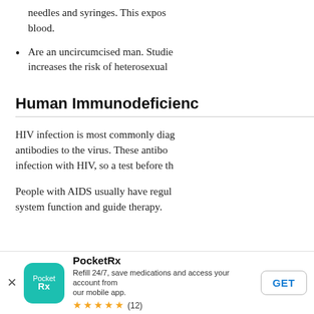needles and syringes. This exposure blood.
Are an uncircumcised man. Studies increases the risk of heterosexual
Human Immunodeficiency
HIV infection is most commonly diagnosed antibodies to the virus. These antibodies infection with HIV, so a test before th
People with AIDS usually have regular system function and guide therapy.
[Figure (other): PocketRx app advertisement banner with teal app icon, app name, description 'Refill 24/7, save medications and access your account from our mobile app.', 5-star rating with (12) reviews, and GET button]